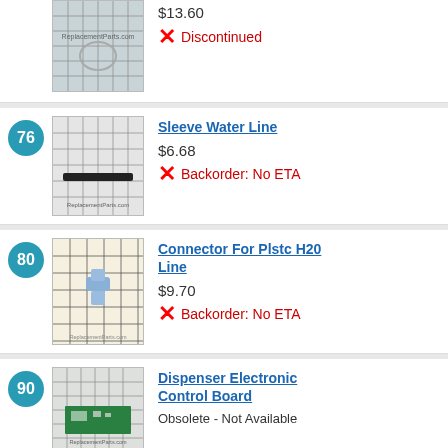[Figure (photo): Product image of a part on grid background, top item (partial)]
$13.60
✗ Discontinued
76
[Figure (photo): Sleeve water line part on grid background]
Sleeve Water Line
$6.68
✗ Backorder: No ETA
80
[Figure (photo): Connector for plastic H20 line, blue plastic connector on grid background]
Connector For Plstc H20 Line
$9.70
✗ Backorder: No ETA
90
[Figure (photo): Dispenser electronic control board, green circuit board on grid background]
Dispenser Electronic Control Board
Obsolete - Not Available